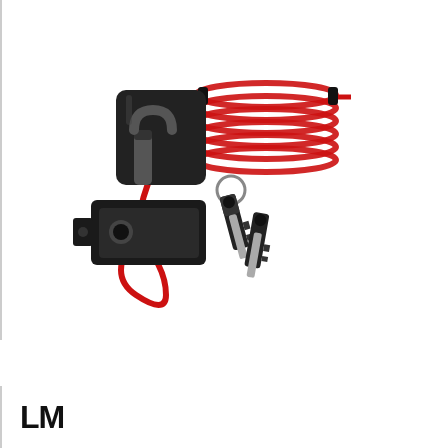[Figure (photo): Product photo showing a motorcycle disc brake lock (black U-lock body and bracket/housing), two black keys on a keyring, and a red coiled security reminder cable with loop ends]
As an Amazon Associate I earn from qualifying purchases. This website uses the only necessary cookies to ensure you get the best experience on our website. More information
LM